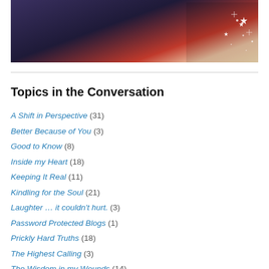[Figure (photo): A dark-toned photograph showing a person in dark clothing, with sparkle/glare effects in the lower right corner. Background has warm beige and red tones.]
Topics in the Conversation
A Shift in Perspective (31)
Better Because of You (3)
Good to Know (8)
Inside my Heart (18)
Keeping It Real (11)
Kindling for the Soul (21)
Laughter … it couldn't hurt. (3)
Password Protected Blogs (1)
Prickly Hard Truths (18)
The Highest Calling (3)
The Wisdom in my Wounds (14)